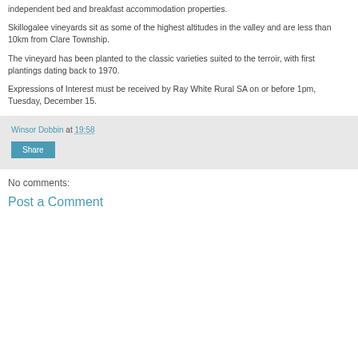independent bed and breakfast accommodation properties.
Skillogalee vineyards sit as some of the highest altitudes in the valley and are less than 10km from Clare Township.
The vineyard has been planted to the classic varieties suited to the terroir, with first plantings dating back to 1970.
Expressions of Interest must be received by Ray White Rural SA on or before 1pm, Tuesday, December 15.
Winsor Dobbin at 19:58 Share
No comments:
Post a Comment